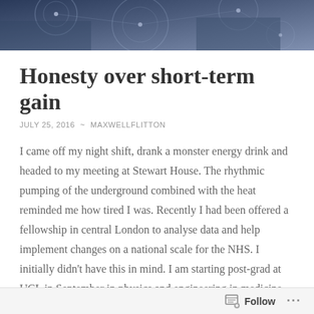[Figure (photo): Hero banner image showing people working with technology, dark blue-toned overlay with circular network/data graphics]
Honesty over short-term gain
JULY 25, 2016  ~  MAXWELLFLITTON
I came off my night shift, drank a monster energy drink and headed to my meeting at Stewart House. The rhythmic pumping of the underground combined with the heat reminded me how tired I was. Recently I had been offered a fellowship in central London to analyse data and help implement changes on a national scale for the NHS. I initially didn't have this in mind. I am starting post-grad at UCL in September in physics and engineering in medicine but I still agreed to meet. I listened to the
Follow  ...